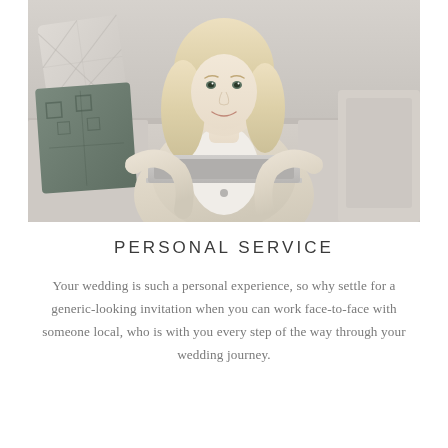[Figure (photo): A smiling blonde woman sitting on a couch with decorative pillows, working on a laptop computer. She is wearing a light beige/cream cardigan over a white top.]
PERSONAL SERVICE
Your wedding is such a personal experience, so why settle for a generic-looking invitation when you can work face-to-face with someone local, who is with you every step of the way through your wedding journey.